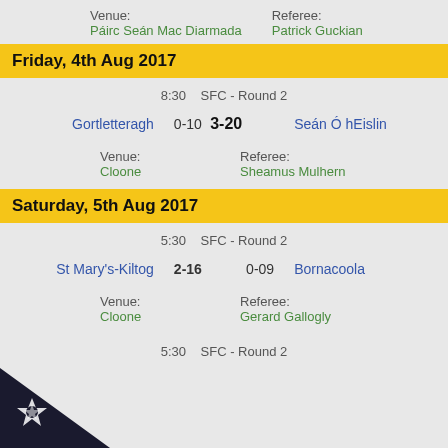Venue:   Páirc Seán Mac Diarmada   Referee:   Patrick Guckian
Friday, 4th Aug 2017
8:30   SFC - Round 2
Gortletteragh   0-10   3-20   Seán Ó hEislin
Venue:   Cloone   Referee:   Sheamus Mulhern
Saturday, 5th Aug 2017
5:30   SFC - Round 2
St Mary's-Kiltog   2-16   0-09   Bornacoola
Venue:   Cloone   Referee:   Gerard Gallogly
5:30   SFC - Round 2